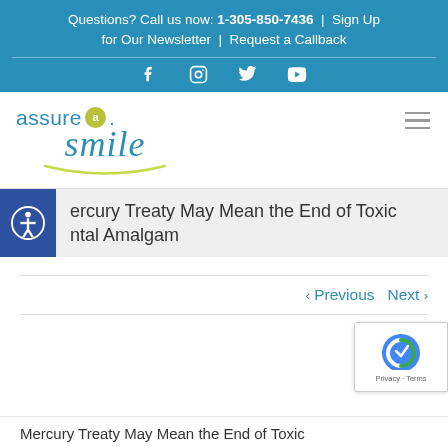Questions? Call us now: 1-305-850-7436 | Sign Up for Our Newsletter | Request a Callback
[Figure (logo): Assure A Smile dental practice logo with blue text and green circle-A, italic 'smile' with arc underline]
Mercury Treaty May Mean the End of Toxic Dental Amalgam
< Previous   Next >
Mercury Treaty May Mean the End of Toxic